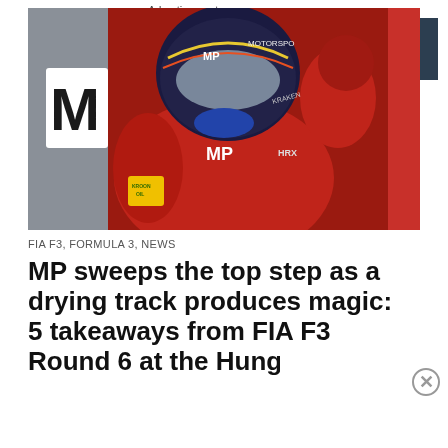[Figure (photo): Racing driver in red MP Motorsport suit with helmet raised fist in celebration gesture]
FIA F3, FORMULA 3, NEWS
MP sweeps the top step as a drying track produces magic: 5 takeaways from FIA F3 Round 6 at the Hungaroring
[Figure (other): DuckDuckGo advertisement banner: Search, browse, and email with more privacy. All in One Free App]
Advertisements